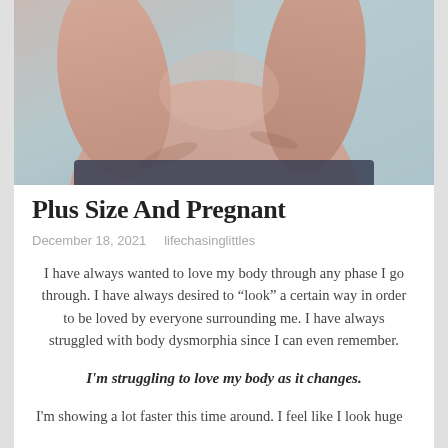[Figure (photo): Close-up photo of a pregnant belly and arms, cropped view against a light background]
Plus Size And Pregnant
December 18, 2021   lifechasinglittles
I have always wanted to love my body through any phase I go through. I have always desired to “look” a certain way in order to be loved by everyone surrounding me. I have always struggled with body dysmorphia since I can even remember.
I’m struggling to love my body as it changes.
I’m showing a lot faster this time around. I feel like I look huge